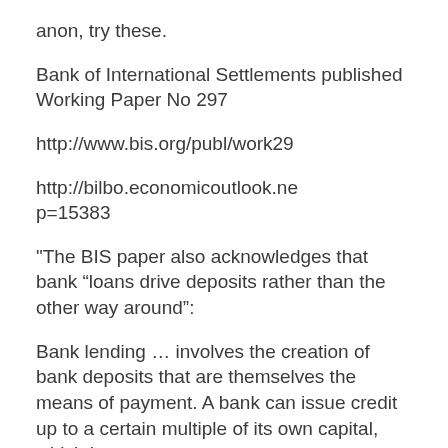anon, try these.
Bank of International Settlements published Working Paper No 297
http://www.bis.org/publ/work29
http://bilbo.economicoutlook.ne p=15383
"The BIS paper also acknowledges that bank “loans drive deposits rather than the other way around":
Bank lending … involves the creation of bank deposits that are themselves the means of payment. A bank can issue credit up to a certain multiple of its own capital, which is